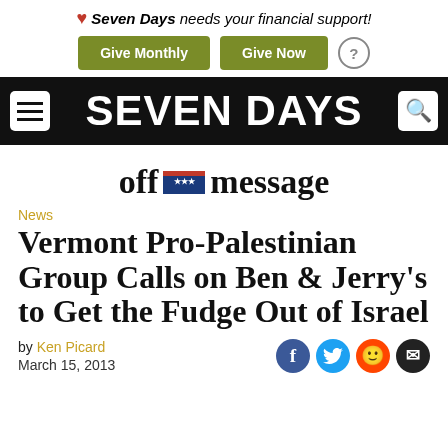❤ Seven Days needs your financial support! [Give Monthly] [Give Now] [?]
SEVEN DAYS
[Figure (logo): off=message logo with American flag motif between 'off' and 'message']
News
Vermont Pro-Palestinian Group Calls on Ben & Jerry's to Get the Fudge Out of Israel
by Ken Picard
March 15, 2013